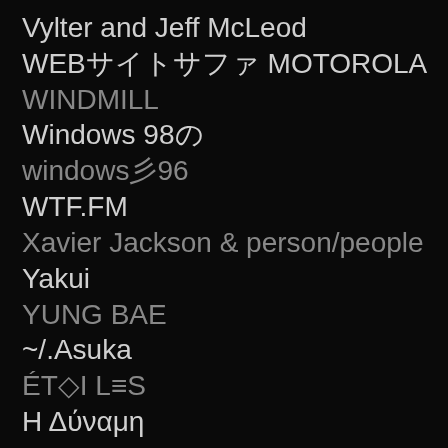Vylter and Jeff McLeod
WEBサイトサファ MOTOROLA
WINDMILL
Windows 98の
windows彡96
WTF.FM
Xavier Jackson & person/people
Yakui
YUNG BAE
~/.Asuka
ÉT◇I L≡S
Η Δύναμη
Σ™